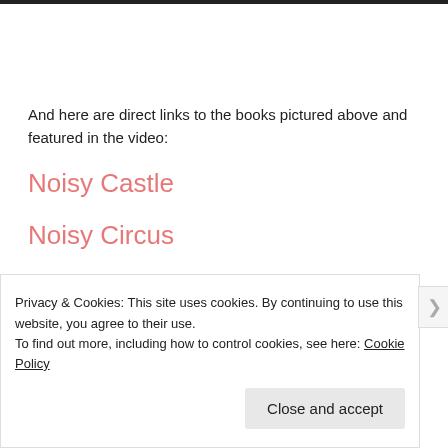And here are direct links to the books pictured above and featured in the video:
Noisy Castle
Noisy Circus
Noisy Diggers
Privacy & Cookies: This site uses cookies. By continuing to use this website, you agree to their use.
To find out more, including how to control cookies, see here: Cookie Policy
Close and accept